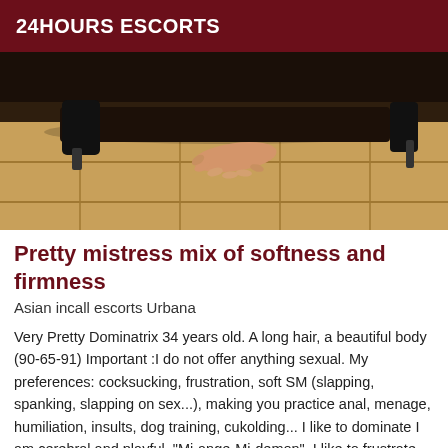24HOURS ESCORTS
[Figure (photo): Photo showing a person in black clothing and high heels on a tiled floor, with a hand reaching forward on the ground.]
Pretty mistress mix of softness and firmness
Asian incall escorts Urbana
Very Pretty Dominatrix 34 years old. A long hair, a beautiful body (90-65-91) Important :I do not offer anything sexual. My preferences: cocksucking, frustration, soft SM (slapping, spanking, slapping on sex...), making you practice anal, menage, humiliation, insults, dog training, cukolding... I like to dominate I am cerebral and playful. "Mi-ange-Mi-demon", I like to frustrate, manhandle, soft SM... I receive sector 06 (with